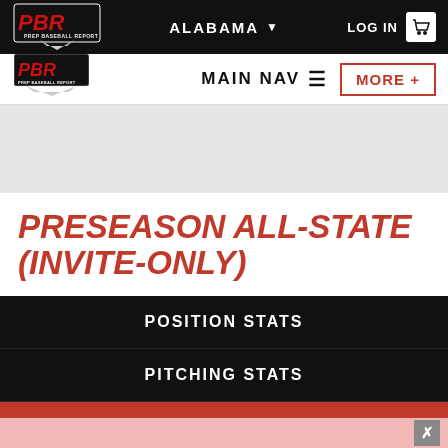[Figure (logo): PBR Prep Baseball Report logo in red and white on black background]
ALABAMA ▾    LOG IN 🛒
MAIN NAV ≡    MORE +
PRESEASON ALL-STATE (INVITE-ONLY)
POSITION STATS
PITCHING STATS
ROSTER